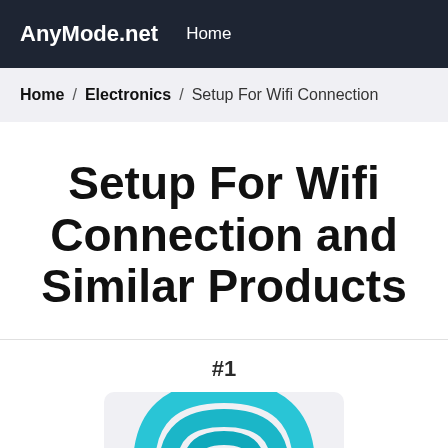AnyMode.net  Home
Home / Electronics / Setup For Wifi Connection
Setup For Wifi Connection and Similar Products
#1
[Figure (photo): Partial view of a router or wifi device icon/image with cyan/blue arc shape on a light gray background, cropped at the bottom of the page.]